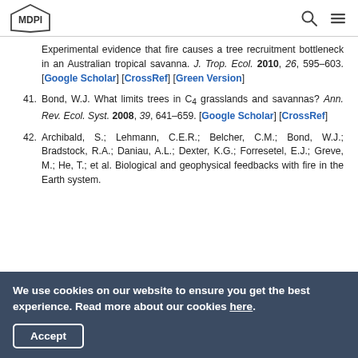MDPI
Experimental evidence that fire causes a tree recruitment bottleneck in an Australian tropical savanna. J. Trop. Ecol. 2010, 26, 595–603. [Google Scholar] [CrossRef] [Green Version]
41. Bond, W.J. What limits trees in C4 grasslands and savannas? Ann. Rev. Ecol. Syst. 2008, 39, 641–659. [Google Scholar] [CrossRef]
42. Archibald, S.; Lehmann, C.E.R.; Belcher, C.M.; Bond, W.J.; Bradstock, R.A.; Daniau, A.L.; Dexter, K.G.; Forresetel, E.J.; Greve, M.; He, T.; et al. Biological and geophysical feedbacks with fire in the Earth system.
We use cookies on our website to ensure you get the best experience. Read more about our cookies here.
Accept